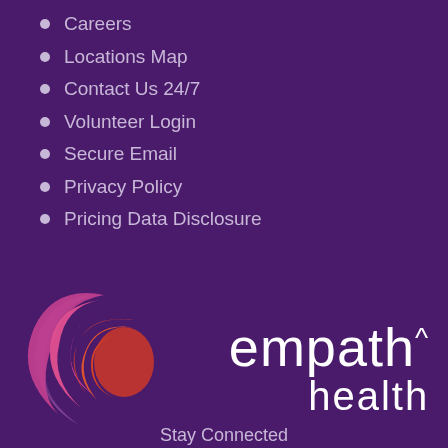Careers
Locations Map
Contact Us 24/7
Volunteer Login
Secure Email
Privacy Policy
Pricing Data Disclosure
[Figure (logo): Empath Health logo with swirling crescents in pink, red, and orange on a purple background, with the text 'empath health' in white]
Stay Connected